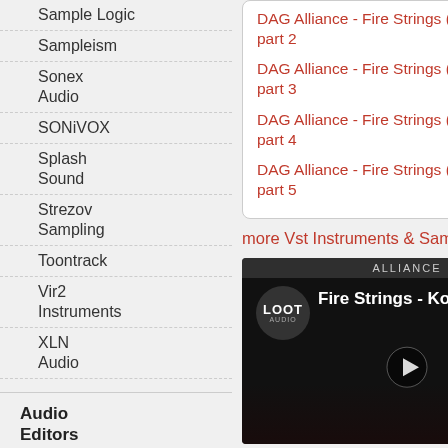Sample Logic
Sampleism
Sonex Audio
SONiVOX
Splash Sound
Strezov Sampling
Toontrack
Vir2 Instruments
XLN Audio
Audio Editors
Magazines
DAG Alliance - Fire Strings (KONTAKT) part 2
DAG Alliance - Fire Strings (KONTAKT) part 3
DAG Alliance - Fire Strings (KONTAKT) part 4
DAG Alliance - Fire Strings (KONTAKT) part 5
more Vst Instruments & Sample Libraries...
[Figure (screenshot): Video thumbnail showing Fire Strings - Ko... with Loot Audio logo and play button]
Fire Strings is an incredibly advanced instrument. Combine
Forgot your password?
Forgot your username?
Create an account